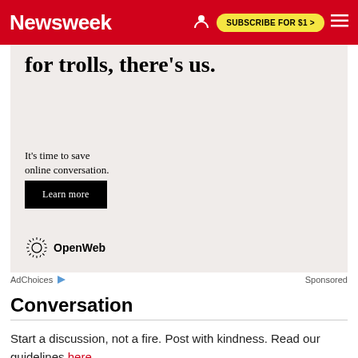Newsweek | SUBSCRIBE FOR $1 >
[Figure (infographic): Advertisement banner for OpenWeb with text 'for trolls, there's us. It's time to save online conversation.' with a Learn more button and OpenWeb logo on a beige/cream background.]
AdChoices  Sponsored
Conversation
Start a discussion, not a fire. Post with kindness. Read our guidelines here.